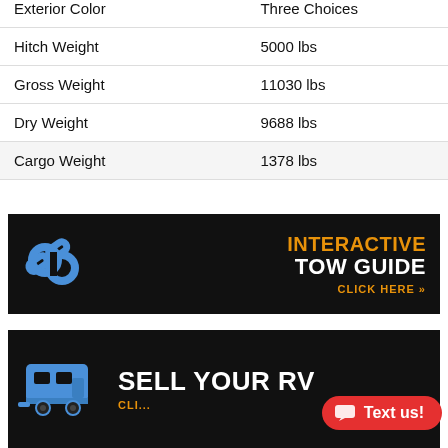|  |  |
| --- | --- |
| Exterior Color | Three Choices |
| Hitch Weight | 5000 lbs |
| Gross Weight | 11030 lbs |
| Dry Weight | 9688 lbs |
| Cargo Weight | 1378 lbs |
[Figure (infographic): Interactive Tow Guide banner with chain link icon. Orange text: INTERACTIVE, white text: TOW GUIDE, orange text: CLICK HERE »]
[Figure (infographic): Sell Your RV banner with RV trailer icon. White text: SELL YOUR RV, orange text: CLICK HERE »]